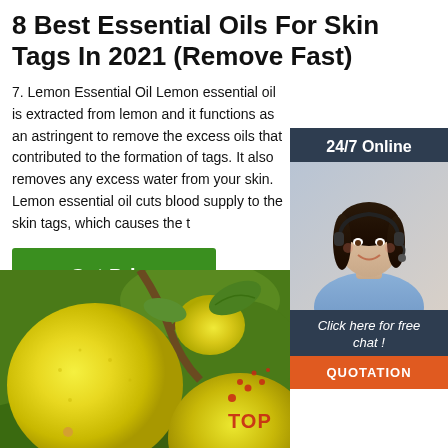8 Best Essential Oils For Skin Tags In 2021 (Remove Fast)
7. Lemon Essential Oil Lemon essential oil is extracted from lemon and it functions as an astringent to remove the excess oils that contributed to the formation of tags. It also removes any excess water from your skin. Lemon essential oil cuts blood supply to the skin tags, which causes the t
[Figure (other): Green Get Price button]
[Figure (other): Online chat widget with '24/7 Online' header, a woman with headset, 'Click here for free chat!' text, and orange QUOTATION button]
[Figure (photo): Close-up photo of yellow lemons on a tree with green leaves]